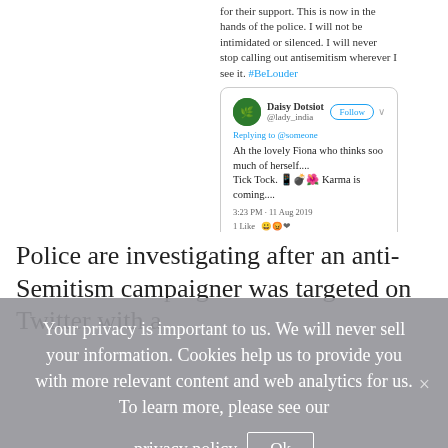for their support. This is now in the hands of the police. I will not be intimidated or silenced. I will never stop calling out antisemitism wherever I see it. #BeLouder
[Figure (screenshot): Screenshot of a tweet by Daisy Dotsiot (@lady_india) replying to someone: 'Ah the lovely Fiona who thinks soo much of herself.... Tick Tock. [emojis] Karma is coming....' with timestamp 3:23 PM - 11 Aug 2019, showing 1 like and emoji reactions.]
1:40 PM - Aug 12, 2019 · Twitter for iPhone
88 Retweets  270 Likes
Police are investigating after an anti-Semitism campaigner was targeted on Twitter with a
Your privacy is important to us. We will never sell your information. Cookies help us to provide you with more relevant content and web analytics for us. To learn more, please see our privacy policy  Ok